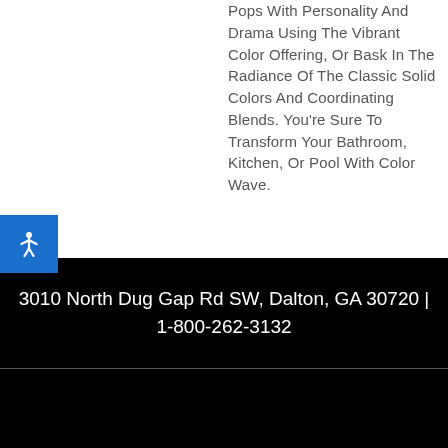Pops With Personality And Drama Using The Vibrant Color Offering, Or Bask In The Radiance Of The Classic Solid Colors And Coordinating Blends. You're Sure To Transform Your Bathroom, Kitchen, Or Pool With Color Wave.
3010 North Dug Gap Rd SW, Dalton, GA 30720 | 1-800-262-3132
[Figure (photo): Partial product/tile image visible at bottom of page against black background]